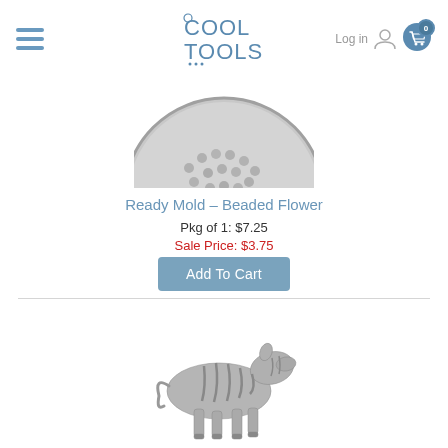Cool Tools - hamburger menu, logo, Log in, cart (0)
[Figure (photo): Partial view of a circular beaded flower mold product, showing textured silver beads pattern on a disc]
Ready Mold - Beaded Flower
Pkg of 1: $7.25
Sale Price: $3.75
Add To Cart
[Figure (photo): Silver metallic zebra figurine/charm showing a running zebra with striped texture detail]